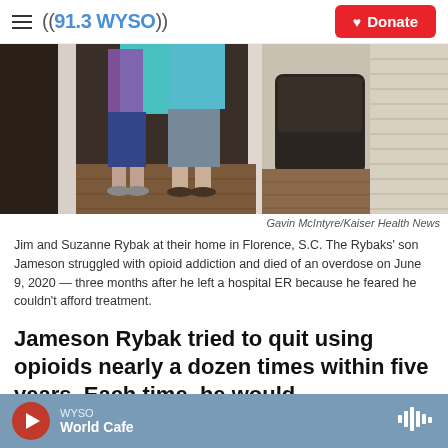91.3 WYSO | Donate
[Figure (photo): Two people (Jim and Suzanne Rybak) standing at a doorway, shown from torso down, on a wooden deck with outdoor furniture visible]
Gavin McIntyre/Kaiser Health News
Jim and Suzanne Rybak at their home in Florence, S.C. The Rybaks' son Jameson struggled with opioid addiction and died of an overdose on June 9, 2020 — three months after he left a hospital ER because he feared he couldn't afford treatment.
Jameson Rybak tried to quit using opioids nearly a dozen times within five years. Each time, he would
WYSO — World Cafe